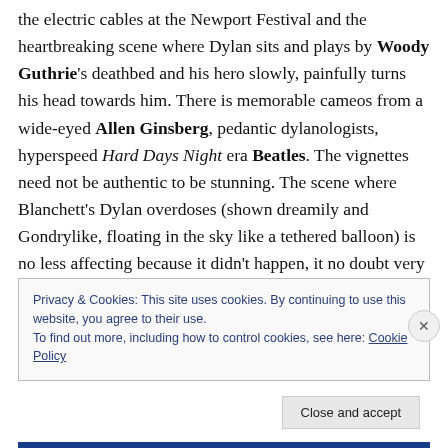the electric cables at the Newport Festival and the heartbreaking scene where Dylan sits and plays by Woody Guthrie's deathbed and his hero slowly, painfully turns his head towards him. There is memorable cameos from a wide-eyed Allen Ginsberg, pedantic dylanologists, hyperspeed Hard Days Night era Beatles. The vignettes need not be authentic to be stunning. The scene where Blanchett's Dylan overdoses (shown dreamily and Gondrylike, floating in the sky like a tethered balloon) is no less affecting because it didn't happen, it no doubt very nearly did.
Privacy & Cookies: This site uses cookies. By continuing to use this website, you agree to their use. To find out more, including how to control cookies, see here: Cookie Policy
Close and accept